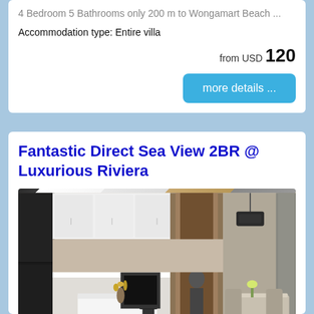4 Bedroom 5 Bathrooms only 200 m to Wongamart Beach ...
Accommodation type: Entire villa
from USD 120
more details ...
Fantastic Direct Sea View 2BR @ Luxurious Riviera
[Figure (photo): Interior photo of a modern apartment showing an open-plan kitchen with white cabinets and a black refrigerator on the left, a kitchen island with a bar stool in the center, a doorway leading to a bedroom in the background, and a dining area with chairs and a pendant light on the right.]